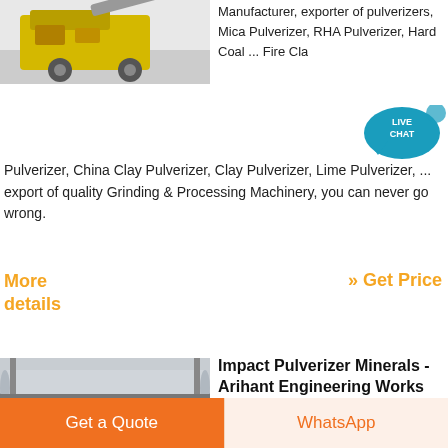[Figure (photo): Photo of a yellow industrial pulverizer/grinding machine outdoors in a snowy or white environment]
Manufacturer, exporter of pulverizers, Mica Pulverizer, RHA Pulverizer, Hard Coal ... Fire Clay Pulverizer, China Clay Pulverizer, Clay Pulverizer, Lime Pulverizer, ... export of quality Grinding & Processing Machinery, you can never go wrong.
More details
» Get Price
[Figure (photo): Photo of industrial cylindrical tubes/pipes on a structure, likely an impact pulverizer minerals machine from Arihant Engineering Works]
Impact Pulverizer Minerals - Arihant Engineering Works
Implect Pulverizer Minerals,
Get a Quote
WhatsApp